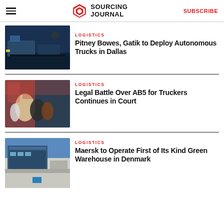Sourcing Journal | SUBSCRIBE
LOGISTICS
Pitney Bowes, Gatik to Deploy Autonomous Trucks in Dallas
[Figure (photo): Truck parked outside a Pitney Bowes facility at dusk]
LOGISTICS
Legal Battle Over AB5 for Truckers Continues in Court
[Figure (photo): Crowd of people near shipping containers]
LOGISTICS
Maersk to Operate First of Its Kind Green Warehouse in Denmark
[Figure (photo): Exterior of a large modern warehouse building]